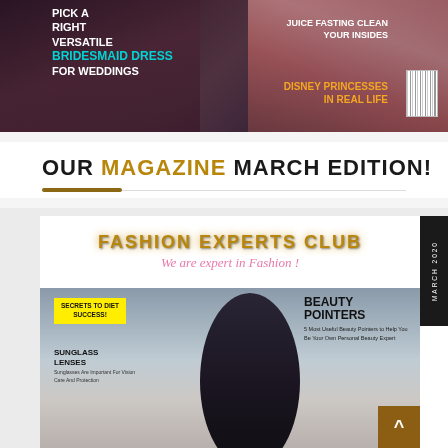[Figure (photo): Fashion magazine cover image showing bridesmaid dress topic with cyan text 'BRIDESMAID DRESS', white text 'PICK A RIGHT VERSATILE FOR WEDDINGS', right side shows 'JUICE FASTING CLEAN YOUR INSIDES' and orange 'DISNEY PRINCESSES IN REAL LIFE' text, barcode visible]
OUR MAGAZINE MARCH EDITION!
[Figure (photo): Fashion Experts Club magazine cover showing golden title 'FASHION EXPERTS CLUB', pink cursive subtitle 'We are expert in Fashion!', black sidebar with 'MARCH 2020' text. Inner magazine cover shows yellow badge 'SECRETS TO DIET SUCCESS!', 'BEAUTY POINTERS - 5 Most Useful Beauty Pointers to Help You Be Your Own Personal Beauty Expert', 'SUNGLASS LENSES - Sunglasses Are Important For Vision Care And Protection', female model in black. Brown scroll-to-top button with arrow in bottom right.]